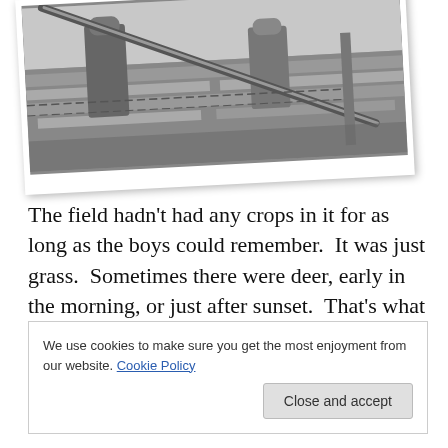[Figure (photo): Black and white photograph, slightly rotated, showing a soldier or person in a field or outdoor scene with barbed wire or fence elements visible. The photo has a white border like a physical print.]
The field hadn't had any crops in it for as long as the boys could remember.  It was just grass.  Sometimes there were deer, early in the morning, or just after sunset.  That's what made Luke want to get the barbed wire.  It had been strung up a long time ago, between the field and the
We use cookies to make sure you get the most enjoyment from our website. Cookie Policy
Close and accept